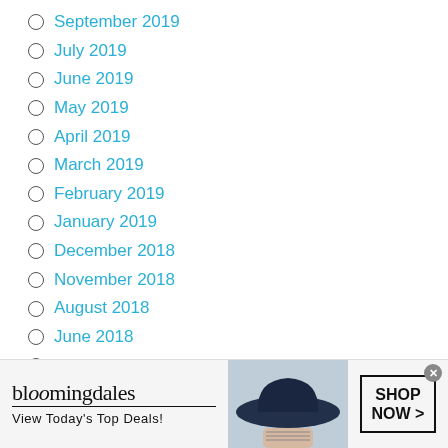September 2019
July 2019
June 2019
May 2019
April 2019
March 2019
February 2019
January 2019
December 2018
November 2018
August 2018
June 2018
May 2018
October 2017
July 2017
[Figure (screenshot): Bloomingdale's advertisement banner: logo with underline, tagline 'View Today's Top Deals!', woman in hat image, 'SHOP NOW >' button]